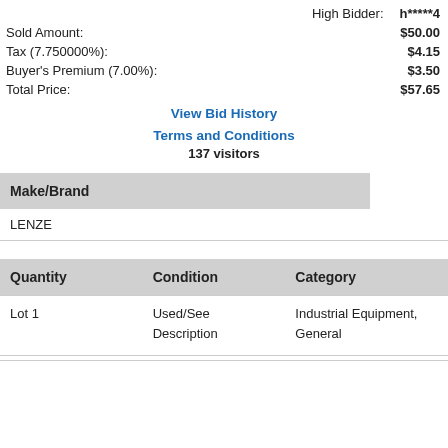High Bidder: h*****4
Sold Amount: $50.00
Tax (7.750000%): $4.15
Buyer's Premium (7.00%): $3.50
Total Price: $57.65
View Bid History
Terms and Conditions
137 visitors
Make/Brand
LENZE
| Quantity | Condition | Category |
| --- | --- | --- |
| Lot 1 | Used/See Description | Industrial Equipment, General |